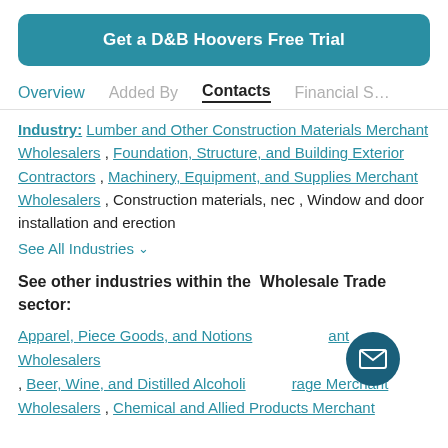Get a D&B Hoovers Free Trial
Overview | Added By | Contacts | Financial S…
Industry: Lumber and Other Construction Materials Merchant Wholesalers, Foundation, Structure, and Building Exterior Contractors, Machinery, Equipment, and Supplies Merchant Wholesalers, Construction materials, nec, Window and door installation and erection
See All Industries ▾
See other industries within the Wholesale Trade sector:
Apparel, Piece Goods, and Notions Merchant Wholesalers, Beer, Wine, and Distilled Alcoholic Beverage Merchant Wholesalers, Chemical and Allied Products Merchant